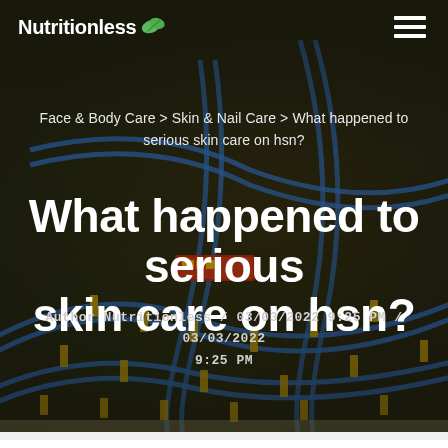[Figure (screenshot): Website header screenshot of Nutritionless blog. Dark background with toy train track photo. Logo 'Nutritionless' with green leaf icon top-left. Hamburger menu top-right. Breadcrumb navigation: 'Face & Body Care > Skin & Nail Care > What happened to serious skin care on hsn?'. Large white bold title: 'What happened to serious skin care on hsn?'. Author/date line: 'Author Nutritionless / 03/03/2022 9:25 PM / 03/03/2022 9:25 PM'.]
Nutritionless
Face & Body Care > Skin & Nail Care > What happened to serious skin care on hsn?
What happened to serious skin care on hsn?
Author Nutritionless / 03/03/2022 9:25 PM / 03/03/2022 9:25 PM